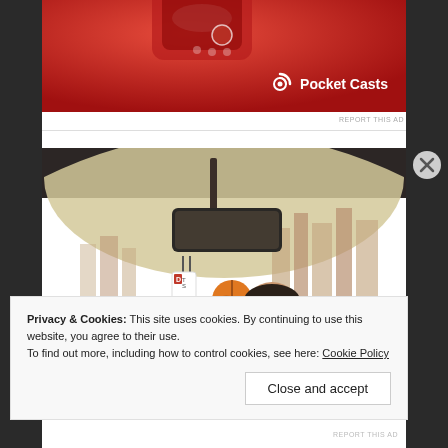[Figure (advertisement): Pocket Casts app advertisement with red background showing a smartwatch/phone device]
REPORT THIS AD
[Figure (illustration): Cartoon illustration of a man with glasses and beard sitting in a car, viewed from behind the rearview mirror. DTS logo tag hanging from mirror, sports balls (basketball, football, baseball) visible. City skyline in background.]
Privacy & Cookies: This site uses cookies. By continuing to use this website, you agree to their use.
To find out more, including how to control cookies, see here: Cookie Policy
Close and accept